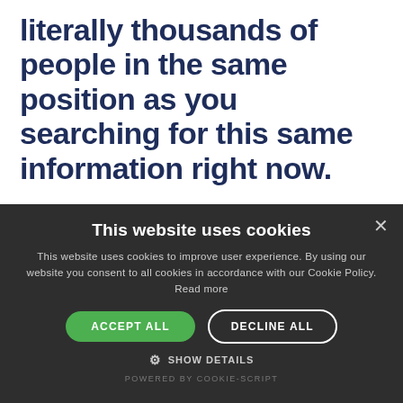literally thousands of people in the same position as you searching for this same information right now.
You know you want to optimize your health to help your immune system beat cancer.
This website uses cookies
This website uses cookies to improve user experience. By using our website you consent to all cookies in accordance with our Cookie Policy. Read more
ACCEPT ALL
DECLINE ALL
SHOW DETAILS
POWERED BY COOKIE-SCRIPT